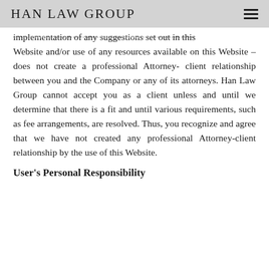HAN LAW GROUP
implementation of any suggestions set out in this Website and/or use of any resources available on this Website – does not create a professional Attorney-client relationship between you and the Company or any of its attorneys. Han Law Group cannot accept you as a client unless and until we determine that there is a fit and until various requirements, such as fee arrangements, are resolved. Thus, you recognize and agree that we have not created any professional Attorney-client relationship by the use of this Website.
User's Personal Responsibility